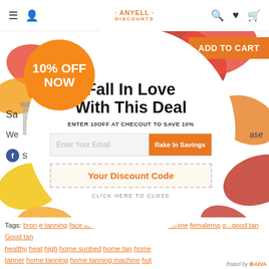ANYELL DISCOUNTS - navigation bar with menu, user, search, wishlist, cart icons
[Figure (screenshot): E-commerce website page with autumn/fall leaf decorations, orange 'ADD TO CART' button, partial page content visible behind popup overlay]
[Figure (infographic): Circular popup overlay with orange badge circle showing '10% OFF NOW', headline 'Fall In Love With This Deal', instruction 'ENTER 10OFF AT CHECOUT TO SAVE 10%', email input with 'Rake In Savings' button, dashed discount code box, and 'CLICK HERE TO CLOSE' link]
ENTER 10OFF AT CHECOUT TO SAVE 10%
Fall In Love With This Deal
10% OFF NOW
Enter Your Email
Rake In Savings
Your Discount Code
CLICK HERE TO CLOSE
Tags: bronz... face tanning machine... at tanning machine femalemate g... good tan Good tan healthy heat high home sunbed home tan home tanner home tanning home tanning machine hot